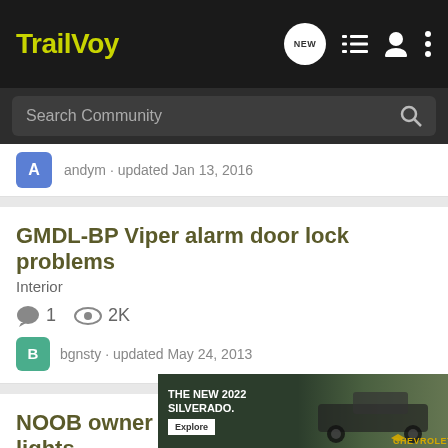TrailVoy
Search Community
andym · updated Jan 13, 2016
GMDL-BP Viper alarm door lock problems
Interior
1  2K
bgnsty · updated May 24, 2013
NOOB owner question about dome lights
Interior
4  2K
nm
[Figure (photo): Advertisement banner for The New 2022 Silverado by Chevrolet with Explore button]